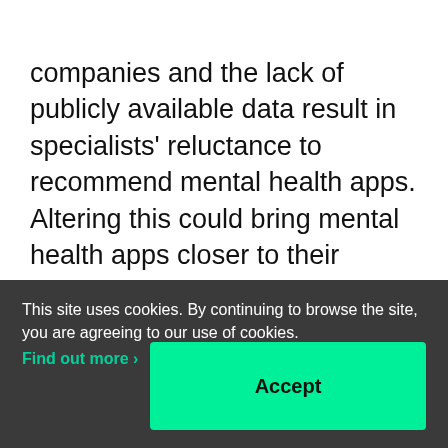companies and the lack of publicly available data result in specialists' reluctance to recommend mental health apps. Altering this could bring mental health apps closer to their possible reimbursement (Germany is the first country to allow reimbursement and prescription of healthcare apps), doctors' support, and a wider patient adoption.
This site uses cookies. By continuing to browse the site, you are agreeing to our use of cookies. Find out more ›